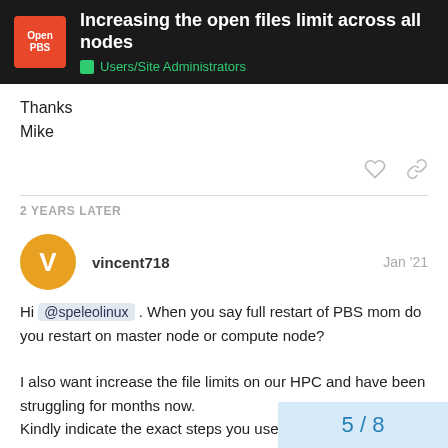Increasing the open files limit across all nodes | Users/Site Administrators
Thanks
Mike
2 YEARS LATER
vincent718  Jan '21
Hi @speleolinux . When you say full restart of PBS mom do you restart on master node or compute node?

I also want increase the file limits on our HPC and have been struggling for months now.
Kindly indicate the exact steps you used for me . Thanks
5 / 8